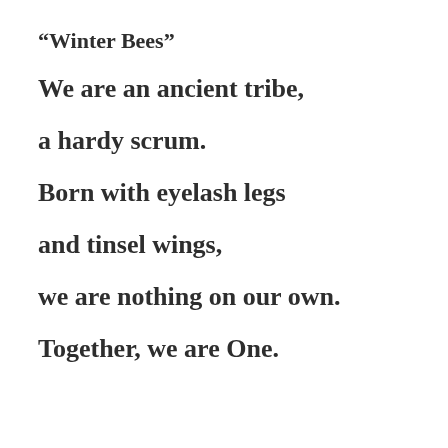“Winter Bees”
We are an ancient tribe,
a hardy scrum.
Born with eyelash legs
and tinsel wings,
we are nothing on our own.
Together, we are One.